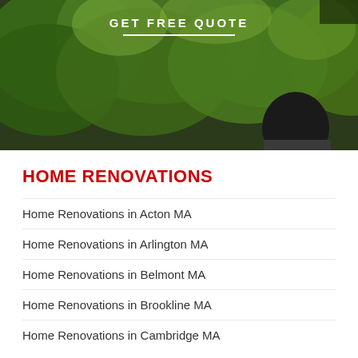[Figure (photo): Hero image showing a person outdoors among green trees/foliage with 'GET FREE QUOTE' text overlay and white underline]
HOME RENOVATIONS
Home Renovations in Acton MA
Home Renovations in Arlington MA
Home Renovations in Belmont MA
Home Renovations in Brookline MA
Home Renovations in Cambridge MA